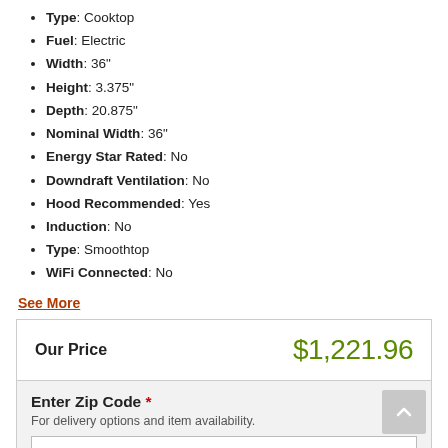Type: Cooktop
Fuel: Electric
Width: 36"
Height: 3.375"
Depth: 20.875"
Nominal Width: 36"
Energy Star Rated: No
Downdraft Ventilation: No
Hood Recommended: Yes
Induction: No
Type: Smoothtop
WiFi Connected: No
See More
Our Price   $1,221.96
Enter Zip Code * For delivery options and item availability.